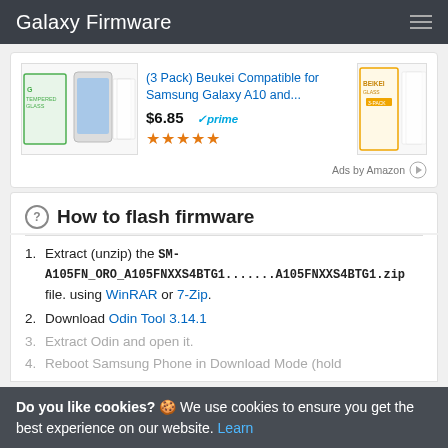Galaxy Firmware
[Figure (other): Amazon advertisement for (3 Pack) Beukei Compatible for Samsung Galaxy A10 and... screen protectors, priced at $6.85 with Prime badge and 4.5 star rating]
How to flash firmware
Extract (unzip) the SM-A105FN_ORO_A105FNXXS4BTG1.......A105FNXXS4BTG1.zip file. using WinRAR or 7-Zip.
Download Odin Tool 3.14.1
Extract Odin and open it.
Reboot Samsung Phone in Download Mode (hold
Do you like cookies? 🍪 We use cookies to ensure you get the best experience on our website. Learn